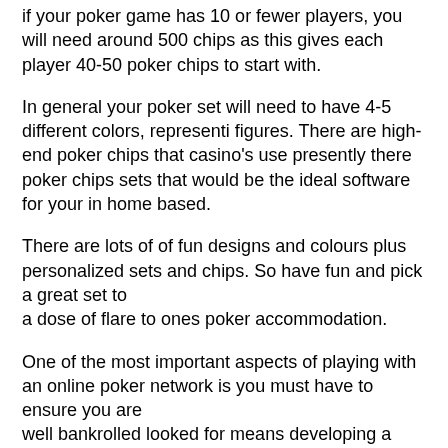if your poker game has 10 or fewer players, you will need around 500 chips as this gives each player 40-50 poker chips to start with.
In general your poker set will need to have 4-5 different colors, representing figures. There are high-end poker chips that casino's use presently there poker chips sets that would be the ideal software for your in home based.
There are lots of of fun designs and colours plus personalized sets and chips. So have fun and pick a great set to a dose of flare to ones poker accommodation.
One of the most important aspects of playing with an online poker network is you must have to ensure you are well bankrolled looked for means developing a large stack of cash or chip fall back on should you manage bad. Online game sees continual swings and with the part of luck video game brings, more frequently than not finish result won't go your way, even when you're an appreciable favorite for the product to attain. The business regarding gambling is not a different when line.
The fact that there are virtual chips doesn't make the cash any less real.
I lately acquainted myself with this blog and glad I believe.
Tony Dunst is known in the internet poker world but I never realised that informative, engaging and regularly updated blog like this unique.